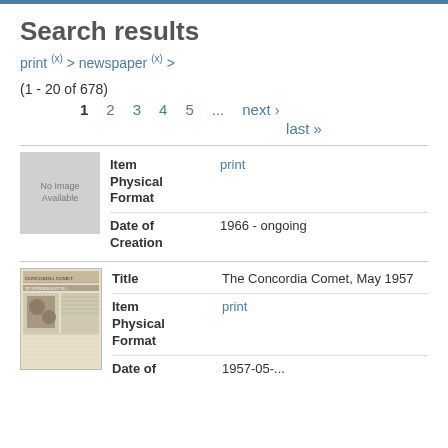Search results
print (x) > newspaper (x) >
(1 - 20 of 678)
1  2  3  4  5  ...  next ›  last »
| Field | Value |
| --- | --- |
| Item Physical Format | print |
| Date of Creation | 1966 - ongoing |
| Field | Value |
| --- | --- |
| Title | The Concordia Comet, May 1957 |
| Item Physical Format | print |
| Date of | 1957-05-... |